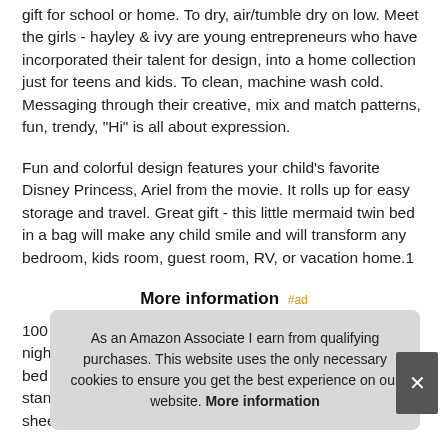gift for school or home. To dry, air/tumble dry on low. Meet the girls - hayley & ivy are young entrepreneurs who have incorporated their talent for design, into a home collection just for teens and kids. To clean, machine wash cold. Messaging through their creative, mix and match patterns, fun, trendy, "Hi" is all about expression.
Fun and colorful design features your child's favorite Disney Princess, Ariel from the movie. It rolls up for easy storage and travel. Great gift - this little mermaid twin bed in a bag will make any child smile and will transform any bedroom, kids room, guest room, RV, or vacation home.1
More information #ad
100 nigh bed standard pillow case 20 inch x 30 inch and, 1 twin flat sheet 66
As an Amazon Associate I earn from qualifying purchases. This website uses the only necessary cookies to ensure you get the best experience on our website. More information